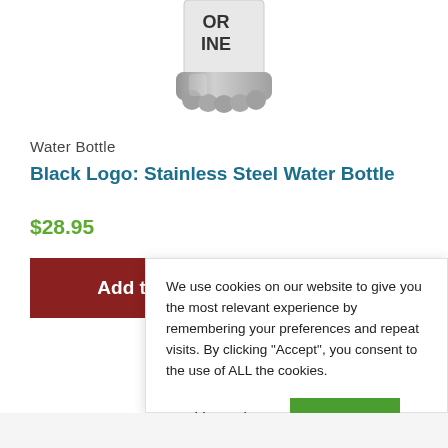[Figure (photo): Stainless steel water bottle, bottom portion visible, silver metallic base, label partially visible reading OR INE]
Water Bottle
Black Logo: Stainless Steel Water Bottle
$28.95
Add to cart
We use cookies on our website to give you the most relevant experience by remembering your preferences and repeat visits. By clicking “Accept”, you consent to the use of ALL the cookies.
Cookie settings
ACCEPT